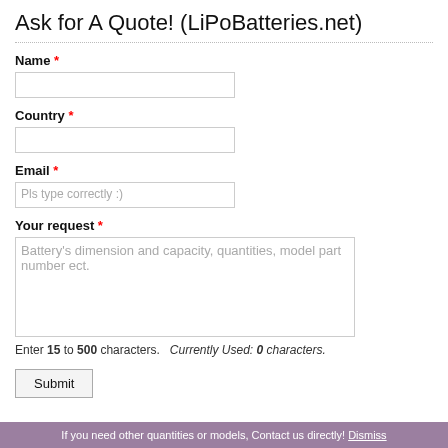Ask for A Quote! (LiPoBatteries.net)
Name *
Country *
Email *
Pls type correctly :)
Your request *
Battery's dimension and capacity, quantities, model part number ect.
Enter 15 to 500 characters.   Currently Used: 0 characters.
Submit
If you need other quantities or models, Contact us directly! Dismiss